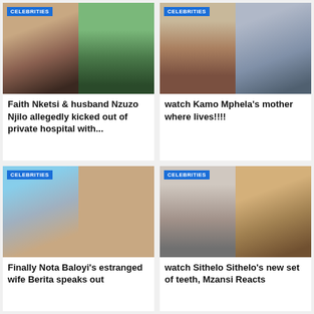[Figure (photo): Two-photo collage: woman selfie and man in suit outdoors, with CELEBRITIES badge]
Faith Nketsi & husband Nzuzo Njilo allegedly kicked out of private hospital with...
[Figure (photo): Two-photo collage: outdoor building scene and young woman, with CELEBRITIES badge]
watch Kamo Mphela's mother where lives!!!!
[Figure (photo): Two-photo collage: couple selfie outdoors, with CELEBRITIES badge]
Finally Nota Baloyi's estranged wife Berita speaks out
[Figure (photo): Two-photo collage: woman smiling and person showing teeth, with CELEBRITIES badge]
watch Sithelo Sithelo's new set of teeth, Mzansi Reacts